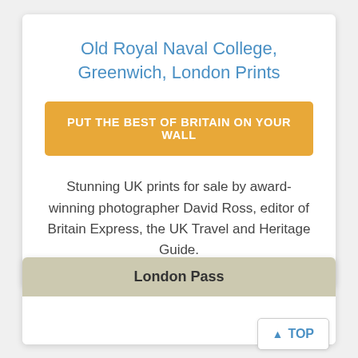Old Royal Naval College, Greenwich, London Prints
PUT THE BEST OF BRITAIN ON YOUR WALL
Stunning UK prints for sale by award-winning photographer David Ross, editor of Britain Express, the UK Travel and Heritage Guide.
London Pass
TOP